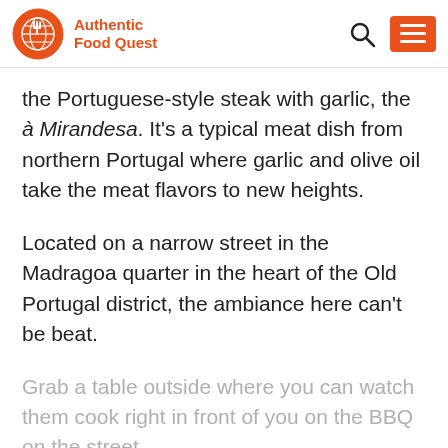Authentic Food Quest
the Portuguese-style steak with garlic, the à Mirandesa. It's a typical meat dish from northern Portugal where garlic and olive oil take the meat flavors to new heights.
Located on a narrow street in the Madragoa quarter in the heart of the Old Portugal district, the ambiance here can't be beat.
Grab a table outside where you can watch them cook right in front of you on the BBQ on the street.